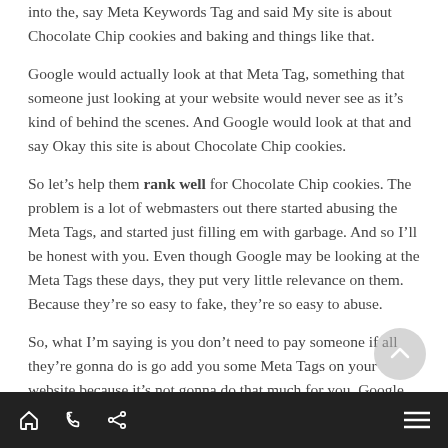into the, say Meta Keywords Tag and said My site is about Chocolate Chip cookies and baking and things like that.
Google would actually look at that Meta Tag, something that someone just looking at your website would never see as it's kind of behind the scenes. And Google would look at that and say Okay this site is about Chocolate Chip cookies.
So let's help them rank well for Chocolate Chip cookies. The problem is a lot of webmasters out there started abusing the Meta Tags, and started just filling em with garbage. And so I'll be honest with you. Even though Google may be looking at the Meta Tags these days, they put very little relevance on them. Because they're so easy to fake, they're so easy to abuse.
So, what I'm saying is you don't need to pay someone if all they're gonna do is go add you some Meta Tags on your website because it's not gonna do that much for you. Google
home phone share menu